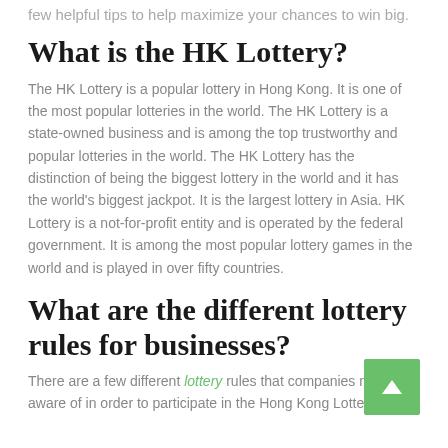few helpful tips to help maximize your chances to win big.
What is the HK Lottery?
The HK Lottery is a popular lottery in Hong Kong. It is one of the most popular lotteries in the world. The HK Lottery is a state-owned business and is among the top trustworthy and popular lotteries in the world. The HK Lottery has the distinction of being the biggest lottery in the world and it has the world's biggest jackpot. It is the largest lottery in Asia. HK Lottery is a not-for-profit entity and is operated by the federal government. It is among the most popular lottery games in the world and is played in over fifty countries.
What are the different lottery rules for businesses?
There are a few different lottery rules that companies need to aware of in order to participate in the Hong Kong Lottery.